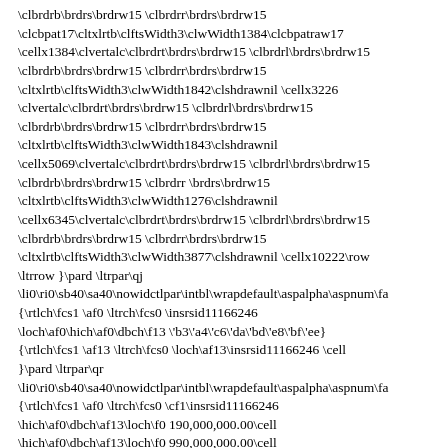\clbrdrb\brdrs\brdrw15 \clbrdrr\brdrs\brdrw15
\clcbpat17\cltxlrtb\clftsWidth3\clwWidth1384\clcbpatraw17
\cellx1384\clvertalc\clbrdrt\brdrs\brdrw15 \clbrdrl\brdrs\brdrw15
\clbrdrb\brdrs\brdrw15 \clbrdrr\brdrs\brdrw15
\cltxlrtb\clftsWidth3\clwWidth1842\clshdrawnil \cellx3226
\clvertalc\clbrdrt\brdrs\brdrw15 \clbrdrl\brdrs\brdrw15
\clbrdrb\brdrs\brdrw15 \clbrdrr\brdrs\brdrw15
\cltxlrtb\clftsWidth3\clwWidth1843\clshdrawnil
\cellx5069\clvertalc\clbrdrt\brdrs\brdrw15 \clbrdrl\brdrs\brdrw15
\clbrdrb\brdrs\brdrw15 \clbrdrr \brdrs\brdrw15
\cltxlrtb\clftsWidth3\clwWidth1276\clshdrawnil
\cellx6345\clvertalc\clbrdrt\brdrs\brdrw15 \clbrdrl\brdrs\brdrw15
\clbrdrb\brdrs\brdrw15 \clbrdrr\brdrs\brdrw15
\cltxlrtb\clftsWidth3\clwWidth3877\clshdrawnil \cellx10222\row
\ltrrow }\pard \ltrpar\qj
\li0\ri0\sb40\sa40\nowidctlpar\intbl\wrapdefault\aspalpha\aspnum\fa
{\rtlch\fcs1 \af0 \ltrch\fcs0 \insrsid11166246
\loch\af0\hich\af0\dbch\f13 \'b3\'a4\'c6\'da\'bd\'e8\'bf\'ee}
{\rtlch\fcs1 \af13 \ltrch\fcs0 \loch\af13\insrsid11166246 \cell
}\pard \ltrpar\qr
\li0\ri0\sb40\sa40\nowidctlpar\intbl\wrapdefault\aspalpha\aspnum\fa
{\rtlch\fcs1 \af0 \ltrch\fcs0 \cf1\insrsid11166246
\hich\af0\dbch\af13\loch\f0 190,000,000.00\cell
\hich\af0\dbch\af13\loch\f0 990,000,000.00\cell
\hich\af0\dbch\af13\loch\f0 -80.81%\cell }\pard \ltrpar \qj